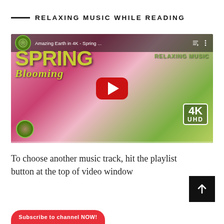RELAXING MUSIC WHILE READING
[Figure (screenshot): YouTube video thumbnail/player showing 'Amazing Earth in 4K - Spring ...' with Spring Blooming title overlay, pink tulip flowers background, red play button, 4K UHD badge, and Relaxing Music text overlay]
To choose another music track, hit the playlist button at the top of video window
[Figure (other): Black scroll-to-top button with upward arrow]
Subscribe to channel NOW!